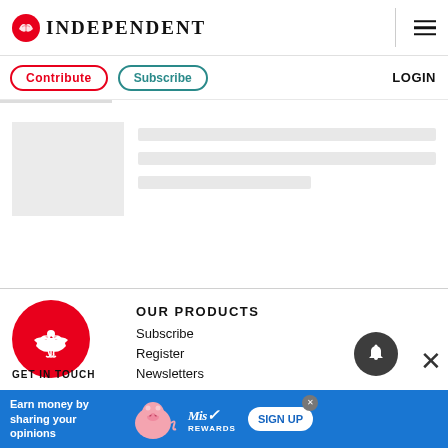INDEPENDENT
Contribute  Subscribe  LOGIN
[Figure (illustration): Loading skeleton placeholder with grey image box on left and grey skeleton lines on right]
[Figure (logo): Independent newspaper red circle eagle logo in footer]
OUR PRODUCTS
Subscribe
Register
Newsletters
GET IN TOUCH
[Figure (screenshot): Advertisement banner: Earn money by sharing your opinions - Miss Rewards SIGN UP]